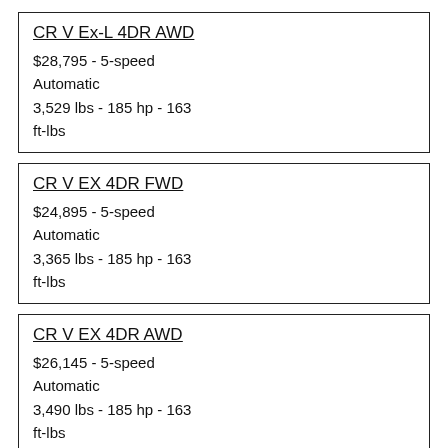CR V Ex-L 4DR AWD
$28,795 - 5-speed
Automatic
3,529 lbs - 185 hp - 163
ft-lbs
CR V EX 4DR FWD
$24,895 - 5-speed
Automatic
3,365 lbs - 185 hp - 163
ft-lbs
CR V EX 4DR AWD
$26,145 - 5-speed
Automatic
3,490 lbs - 185 hp - 163
ft-lbs